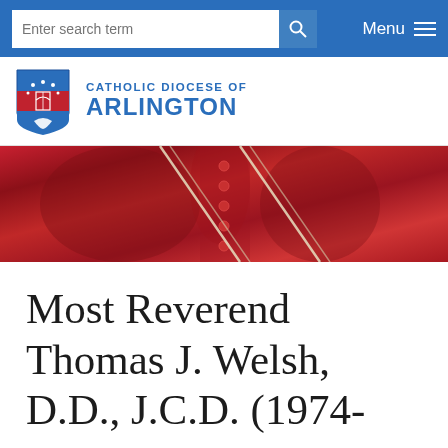Enter search term  Menu
[Figure (logo): Catholic Diocese of Arlington shield/crest logo with text 'Catholic Diocese of Arlington']
[Figure (photo): Close-up photo of red cardinal vestments with white cord/chain detail]
Most Reverend Thomas J. Welsh, D.D., J.C.D. (1974-1983)